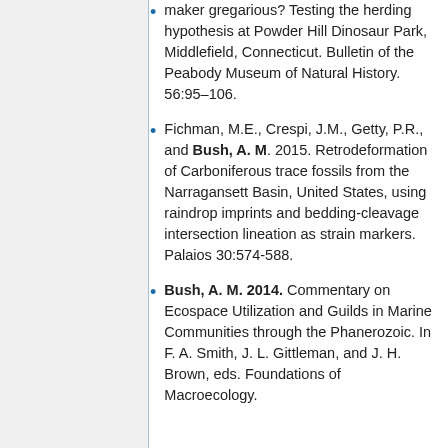maker gregarious? Testing the herding hypothesis at Powder Hill Dinosaur Park, Middlefield, Connecticut. Bulletin of the Peabody Museum of Natural History. 56:95–106.
Fichman, M.E., Crespi, J.M., Getty, P.R., and Bush, A. M. 2015. Retrodeformation of Carboniferous trace fossils from the Narragansett Basin, United States, using raindrop imprints and bedding-cleavage intersection lineation as strain markers. Palaios 30:574-588.
Bush, A. M. 2014. Commentary on Ecospace Utilization and Guilds in Marine Communities through the Phanerozoic. In F. A. Smith, J. L. Gittleman, and J. H. Brown, eds. Foundations of Macroecology.